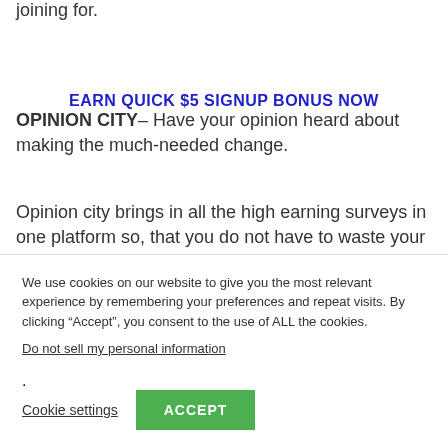joining for.
EARN QUICK $5 SIGNUP BONUS NOW
OPINION CITY– Have your opinion heard about making the much-needed change.
Opinion city brings in all the high earning surveys in one platform so, that you do not have to waste your precious time.
We use cookies on our website to give you the most relevant experience by remembering your preferences and repeat visits. By clicking “Accept”, you consent to the use of ALL the cookies.
Do not sell my personal information.
Cookie settings
ACCEPT